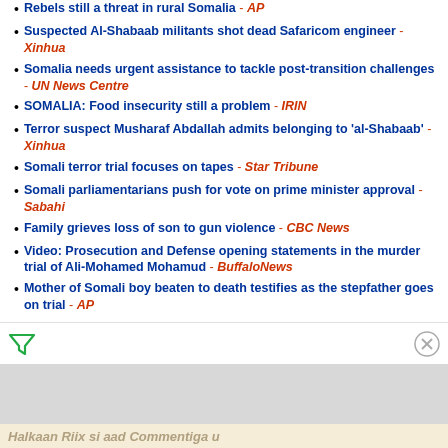Rebels still a threat in rural Somalia - AP
Suspected Al-Shabaab militants shot dead Safaricom engineer - Xinhua
Somalia needs urgent assistance to tackle post-transition challenges - UN News Centre
SOMALIA: Food insecurity still a problem - IRIN
Terror suspect Musharaf Abdallah admits belonging to 'al-Shabaab' - Xinhua
Somali terror trial focuses on tapes - Star Tribune
Somali parliamentarians push for vote on prime minister approval - Sabahi
Family grieves loss of son to gun violence - CBC News
Video: Prosecution and Defense opening statements in the murder trial of Ali-Mohamed Mohamud - BuffaloNews
Mother of Somali boy beaten to death testifies as the stepfather goes on trial - AP
[Figure (other): Filter/funnel icon and close (X) button UI strip for an advertisement area]
Halkaan Riix si aad Commentiga u